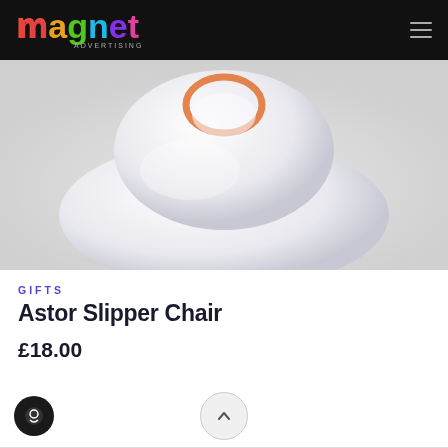[Figure (logo): Magnet Advertising colorful rainbow logo on dark background header bar]
[Figure (photo): White rounded inflatable slipper chair product photo on light grey background, with orange ring detail visible at top]
GIFTS
Astor Slipper Chair
£18.00